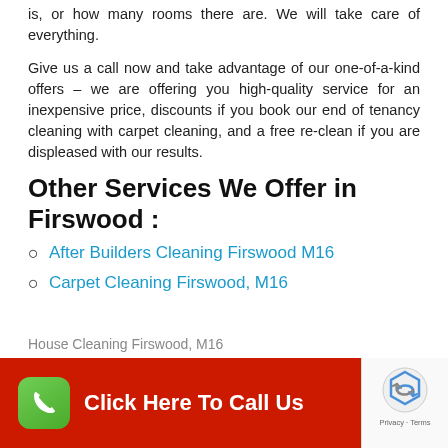is, or how many rooms there are. We will take care of everything.
Give us a call now and take advantage of our one-of-a-kind offers – we are offering you high-quality service for an inexpensive price, discounts if you book our end of tenancy cleaning with carpet cleaning, and a free re-clean if you are displeased with our results.
Other Services We Offer in Firswood :
After Builders Cleaning Firswood M16
Carpet Cleaning Firswood, M16
[Figure (other): Red call-to-action button with green phone icon and text 'Click Here To Call Us', with reCAPTCHA privacy badge in the corner]